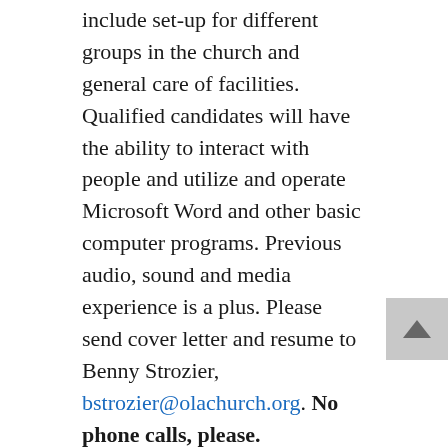include set-up for different groups in the church and general care of facilities. Qualified candidates will have the ability to interact with people and utilize and operate Microsoft Word and other basic computer programs. Previous audio, sound and media experience is a plus. Please send cover letter and resume to Benny Strozier, bstrozier@olachurch.org. No phone calls, please.
St. Pius X Catholic High School is seeking a qualified individual to serve as the director of campus ministry. The ideal candidate must be a practicing Catholic in good standing and hold a master's degree in Catholic theology, religious education, divinity or catechetics. This position is responsible for nurturing the welcoming Catholic identity that is central to the school's mission by